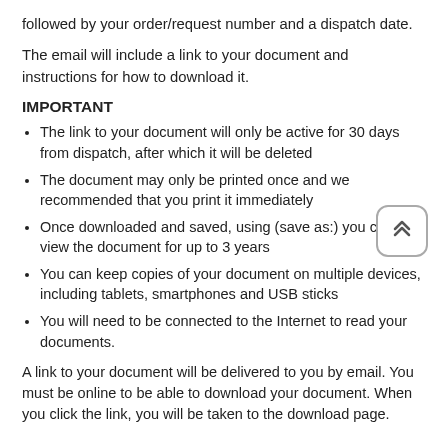followed by your order/request number and a dispatch date.
The email will include a link to your document and instructions for how to download it.
IMPORTANT
The link to your document will only be active for 30 days from dispatch, after which it will be deleted
The document may only be printed once and we recommended that you print it immediately
Once downloaded and saved, using (save as:) you can view the document for up to 3 years
You can keep copies of your document on multiple devices, including tablets, smartphones and USB sticks
You will need to be connected to the Internet to read your documents.
A link to your document will be delivered to you by email. You must be online to be able to download your document. When you click the link, you will be taken to the download page.